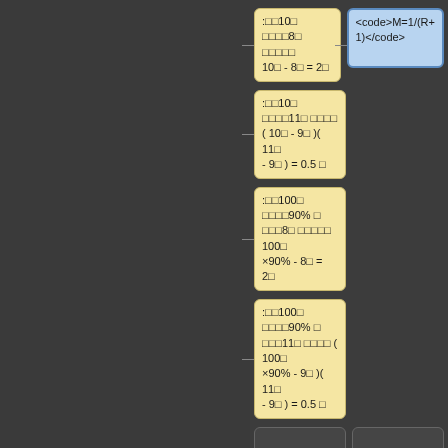[Figure (screenshot): IDE or visual programming interface showing yellow card nodes and blue card nodes arranged in a workflow. Cards contain Japanese text with math expressions and code snippets.]
:□□10□ □□□□8□ □□□□□ 10□ - 8□ = 2□
<code>M=1/(R+1)</code>
:□□10□ □□□□11□ □□□□ ( 10□ - 9□ )( 11□ - 9□ ) = 0.5 □
:□□100□ □□□□90% □ □□□8□ □□□□□ 100□×90% - 8□ = 2□
:□□100□ □□□□90% □ □□□11□ □□□□ ( 100□×90% - 9□ )( 11□ - 9□ ) = 0.5 □
==== □□□□ ====
□□flat□□□□□□□□□□□□□□□ □□□□□0□□□□□□□□□□□□